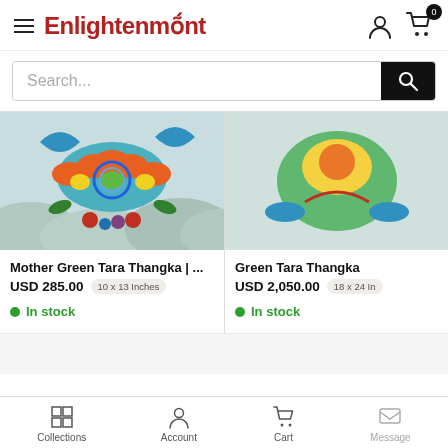Enlightenment
Search...
[Figure (photo): Thangka painting showing colorful Tibetan Buddhist art with blues, greens, oranges on mountain landscape background]
Mother Green Tara Thangka | ...
USD 285.00   10 x 13 Inches
In stock
Green Tara Thangka
USD 2,050.00   18 x 24 In
In stock
Collections   Account   Cart   Message